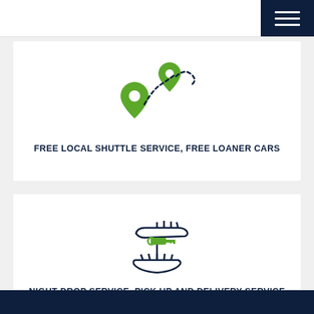[Figure (illustration): Navigation/location pins with a dashed route connecting them — shuttle/loaner car service icon]
FREE LOCAL SHUTTLE SERVICE, FREE LOANER CARS
[Figure (illustration): Hand holding car keys being passed to another hand — night drop / pick up and delivery service icon]
NIGHT DROP SERVICE, PICK UP AND DELIVERY SERVICE